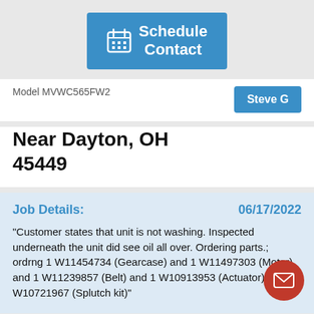[Figure (screenshot): Blue 'Schedule Contact' button with calendar icon]
Model MVWC565FW2
[Figure (other): Blue 'Steve G' button]
Near Dayton, OH 45449
Job Details:
06/17/2022
"Customer states that unit is not washing. Inspected underneath the unit did see oil all over. Ordering parts.; ordrng 1 W11454734 (Gearcase) and 1 W11497303 (Motor) and 1 W11239857 (Belt) and 1 W10913953 (Actuator) and 1 W10721967 (Splutch kit)"